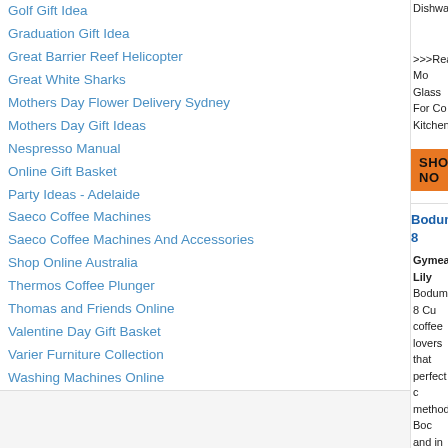Golf Gift Idea
Graduation Gift Idea
Great Barrier Reef Helicopter
Great White Sharks
Mothers Day Flower Delivery Sydney
Mothers Day Gift Ideas
Nespresso Manual
Online Gift Basket
Party Ideas - Adelaide
Saeco Coffee Machines
Saeco Coffee Machines And Accessories
Shop Online Australia
Thermos Coffee Plunger
Thomas and Friends Online
Valentine Day Gift Basket
Varier Furniture Collection
Washing Machines Online
Wine Gift Delivery
Dishwasher
>>>Read Mo Glass For Co KitchenStyle
SHOP NO
Bodum 8
Gymea Lily
Bodum 8 Cu coffee lovers that perfect c method. Boc and in 4 eas etc.
>>>Read Mc Coffee Make